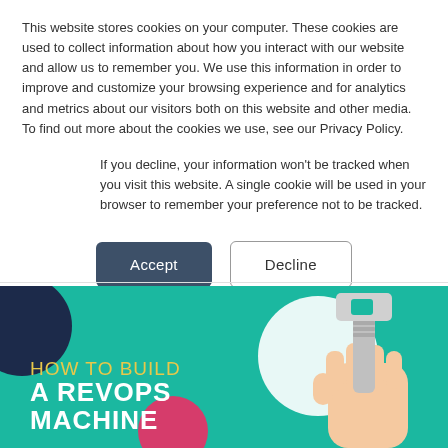This website stores cookies on your computer. These cookies are used to collect information about how you interact with our website and allow us to remember you. We use this information in order to improve and customize your browsing experience and for analytics and metrics about our visitors both on this website and other media. To find out more about the cookies we use, see our Privacy Policy.
If you decline, your information won’t be tracked when you visit this website. A single cookie will be used in your browser to remember your preference not to be tracked.
[Figure (infographic): Cookie consent dialog with Accept and Decline buttons]
[Figure (infographic): Promotional banner on teal background with text 'HOW TO BUILD A REVOPS MACHINE' and a hand holding a wrench, with decorative circles in dark navy, white, and pink.]